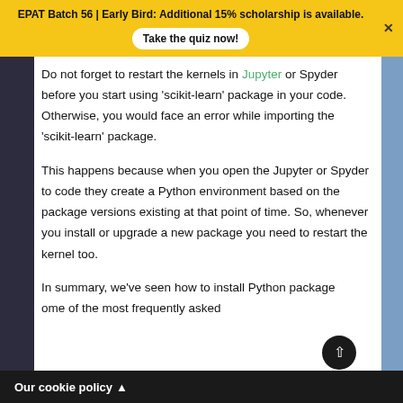EPAT Batch 56 | Early Bird: Additional 15% scholarship is available. Take the quiz now!
Do not forget to restart the kernels in Jupyter or Spyder before you start using 'scikit-learn' package in your code. Otherwise, you would face an error while importing the 'scikit-learn' package.
This happens because when you open the Jupyter or Spyder to code they create a Python environment based on the package versions existing at that point of time. So, whenever you install or upgrade a new package you need to restart the kernel too.
In summary, we've seen how to install Python packages and some of the most frequently asked
Our cookie policy ▲